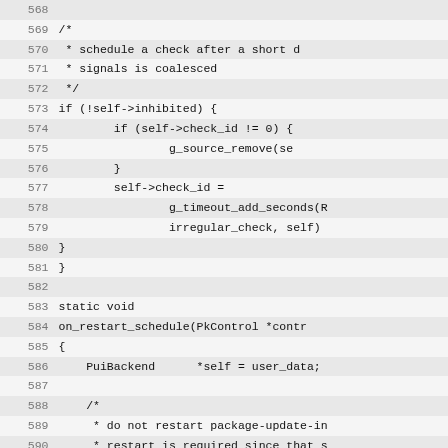[Figure (other): Source code listing lines 568-595 in monospace font with alternating row highlighting, showing C code for schedule checking and restart handling functions]